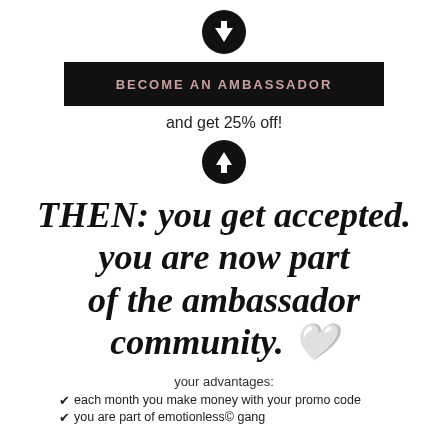[Figure (illustration): Black circle with white downward arrow icon]
BECOME AN AMBASSADOR
and get 25% off!
[Figure (illustration): Black circle with white upward arrow icon]
THEN: you get accepted. you are now part of the ambassador community. 🤍
your advantages:
each month you make money with your promo code
you are part of emotionless© gang